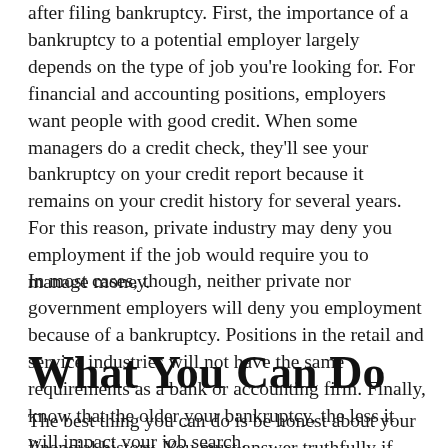after filing bankruptcy. First, the importance of a bankruptcy to a potential employer largely depends on the type of job you're looking for. For financial and accounting positions, employers want people with good credit. When some managers do a credit check, they'll see your bankruptcy on your credit report because it remains on your credit history for several years. For this reason, private industry may deny you employment if the job would require you to manage money.
In most cases, though, neither private nor government employers will deny you employment because of a bankruptcy. Positions in the retail and service industries will not have the same requirements as a bank or accounting firm. Finally, know that the older your bankruptcy, the less it will impact your job search.
What You Can Do
The best thing you can do is be honest about your financial history. You must answer truthfully if you are asked on an